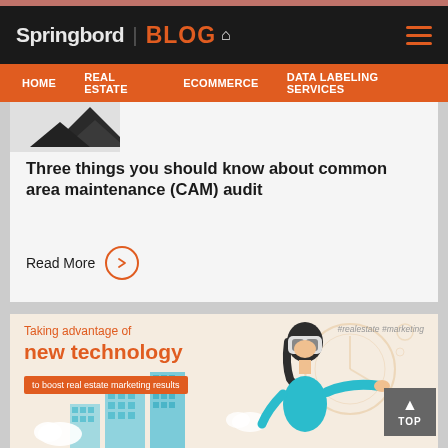Springbord | BLOG
HOME  REAL ESTATE  ECOMMERCE  DATA LABELING SERVICES
[Figure (screenshot): Partial image at top of CAM audit blog card, showing dark geometric/building shapes]
Three things you should know about common area maintenance (CAM) audit
Read More
[Figure (illustration): Blog card illustration for 'Taking advantage of new technology to boost real estate marketing results' featuring a woman wearing a VR headset with city buildings in the background. Hashtags: #realestate #marketing]